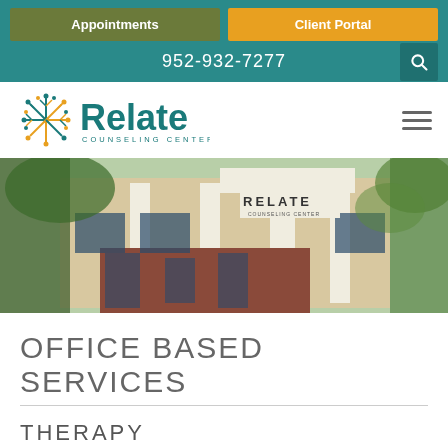Appointments | Client Portal | 952-932-7277
[Figure (logo): Relate Counseling Center logo with decorative tree and teal text]
[Figure (photo): Exterior photo of Relate Counseling Center building, brick facade with RELATE signage, trees visible]
OFFICE BASED SERVICES
THERAPY